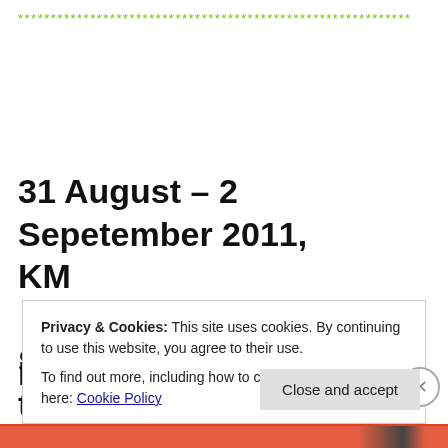************************************************************
31 August – 2 Sepetember 2011, KM Singapore – Riding the Wave of
Privacy & Cookies: This site uses cookies. By continuing to use this website, you agree to their use.
To find out more, including how to control cookies, see here: Cookie Policy
Close and accept